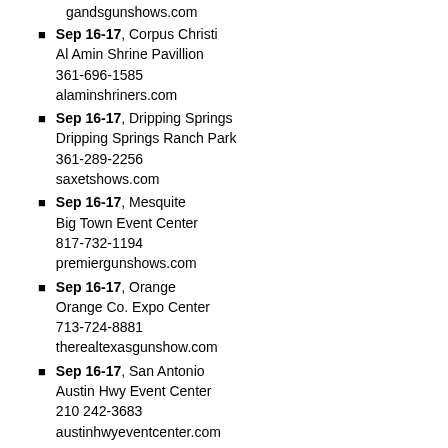gandsgunshows.com
Sep 16-17, Corpus Christi
Al Amin Shrine Pavillion
361-696-1585
alaminshriners.com
Sep 16-17, Dripping Springs
Dripping Springs Ranch Park
361-289-2256
saxetshows.com
Sep 16-17, Mesquite
Big Town Event Center
817-732-1194
premiergunshows.com
Sep 16-17, Orange
Orange Co. Expo Center
713-724-8881
therealtexasgunshow.com
Sep 16-17, San Antonio
Austin Hwy Event Center
210 242-3683
austinhwyeventcenter.com